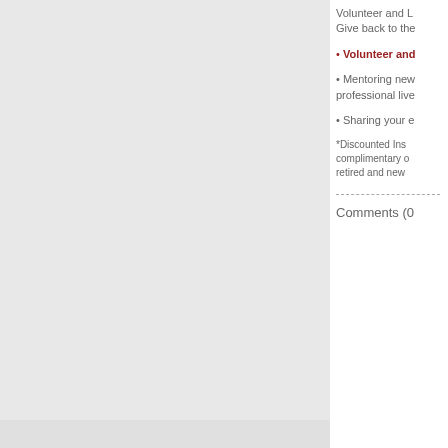Volunteer and L
Give back to the
Volunteer and
Mentoring new professional live
Sharing your e
*Discounted Ins complimentary o retired and new
Comments (0